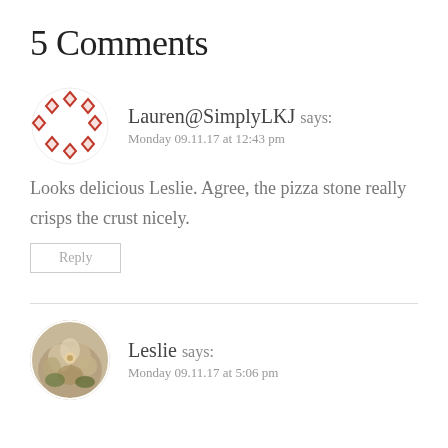5 Comments
Lauren@SimplyLKJ says: Monday 09.11.17 at 12:43 pm
Looks delicious Leslie. Agree, the pizza stone really crisps the crust nicely.
Reply
Leslie says: Monday 09.11.17 at 5:06 pm